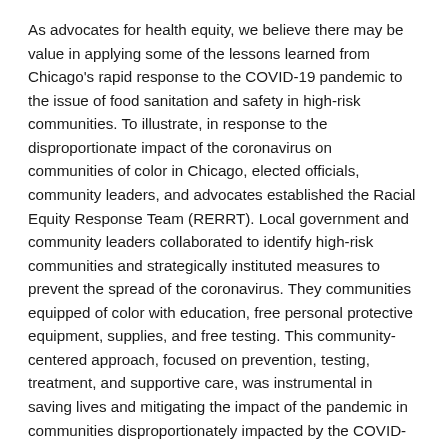As advocates for health equity, we believe there may be value in applying some of the lessons learned from Chicago's rapid response to the COVID-19 pandemic to the issue of food sanitation and safety in high-risk communities. To illustrate, in response to the disproportionate impact of the coronavirus on communities of color in Chicago, elected officials, community leaders, and advocates established the Racial Equity Response Team (RERRT). Local government and community leaders collaborated to identify high-risk communities and strategically instituted measures to prevent the spread of the coronavirus. They communities equipped of color with education, free personal protective equipment, supplies, and free testing. This community-centered approach, focused on prevention, testing, treatment, and supportive care, was instrumental in saving lives and mitigating the impact of the pandemic in communities disproportionately impacted by the COVID-19 pandemic.
Akin to COVID contract tracing efforts, one way to identify